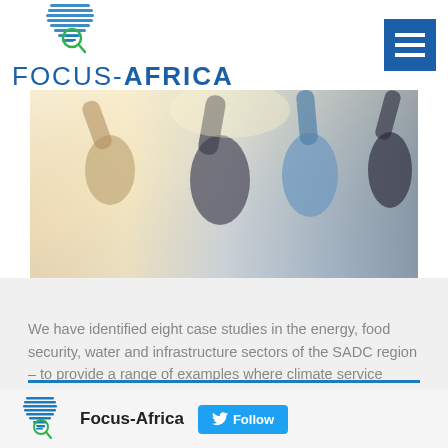[Figure (logo): Focus-Africa logo with stylized Africa continent icon and magnifying glass, above 'FOCUS-AFRICA' text in blue]
[Figure (photo): Group of people doing a team high-five gesture, photographed from below against bright light]
We have identified eight case studies in the energy, food security, water and infrastructure sectors of the SADC region – to provide a range of examples where climate service delivery can be successfully implemented.
[Figure (logo): Small Focus-Africa logo icon followed by bold 'Focus-Africa' text and a Twitter Follow button in blue]